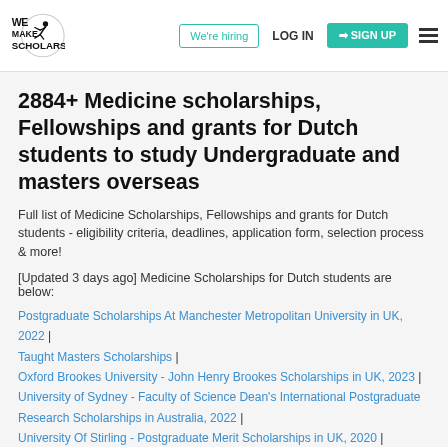WE MAKE SCHOLARS | We're hiring | LOG IN | SIGN UP
2884+ Medicine scholarships, Fellowships and grants for Dutch students to study Undergraduate and masters overseas
Full list of Medicine Scholarships, Fellowships and grants for Dutch students - eligibility criteria, deadlines, application form, selection process & more!
[Updated 3 days ago] Medicine Scholarships for Dutch students are below:
Postgraduate Scholarships At Manchester Metropolitan University in UK, 2022 |
Taught Masters Scholarships |
Oxford Brookes University - John Henry Brookes Scholarships in UK, 2023 |
University of Sydney - Faculty of Science Dean's International Postgraduate Research Scholarships in Australia, 2022 |
University Of Stirling - Postgraduate Merit Scholarships in UK, 2020 |
University of Minnesota - Global Excellence Scholarships in US, 2022 |